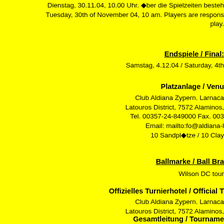Dienstag, 30.11.04, 10.00 Uhr. ◆ber die Spielzeiten besteh... Tuesday, 30th of November 04, 10 am. Players are respons... play.
Endspiele / Final:
Samstag, 4.12.04 / Saturday, 4th ...
Platzanlage / Venue:
Club Aldiana Zypern. Larnaca... Latouros District, 7572 Alaminos, ... Tel. 00357-24-849000 Fax. 003... Email: mailto:fo@aldiana-l... 10 Sandpl◆tze / 10 Clay...
Ballmarke / Ball Bra...
Wilson DC tour ...
Offizielles Turnierhotel / Official T...
Club Aldiana Zypern. Larnaca... Latouros District, 7572 Alaminos, ... Tel. 00357-24-849000 Fax. 003... Email: mailto:fo@aldiana-l... 10 Sandpl◆tze / 10 Clay...
Gesamtleitung / Tourname...